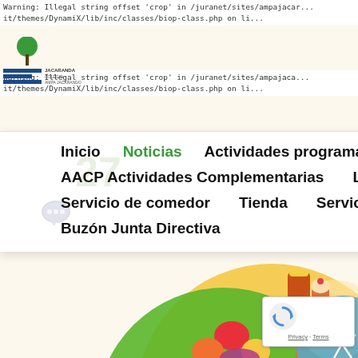Warning: Illegal string offset 'crop' in /juranet/sites/ampajacar...it/themes/DynamiX/lib/inc/classes/biop-class.php on li...
Warning: Illegal string offset 'crop' in /juranet/sites/ampajaca...it/themes/DynamiX/lib/inc/classes/biop-class.php on li...
[Figure (logo): Jacaranda school logo with green tree icon and blue horizontal bars]
Inicio
Noticias
Actividades programadas
Activid...
AACP Actividades Complementarias
Ludoteca
Serv...
Servicio de comedor
Tienda
Servicios AMPA
Buzón Junta Directiva
[Figure (illustration): Colorful food plate infographic with fruits, vegetables, grains, and a person running in a blue circle — healthy eating plate illustration, partially visible at bottom of page]